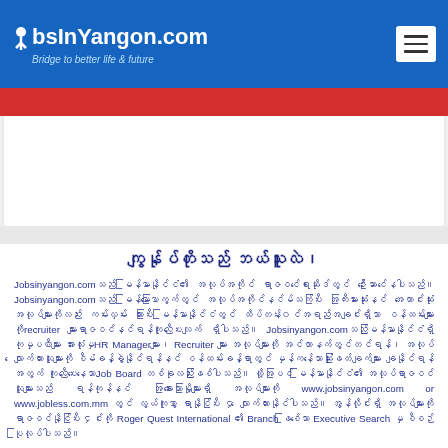JobsInYangon.com — Bridge to better life & future
[Figure (logo): JobsInYangon.com logo with hamburger menu on blue header bar]
ကျွန်ုပ်တိုသည် ဘယ်သူလဲ၊
Jobsinyangon.comသည် မြန်မာနိုင်ငံ၏ အလုပ်အကိုင် ရာဇဝင်ရေးဆိုဒ်တွင် ဦးဆောင်နေပါသည်။ Jobsinyangon.comသည် မြန်မာပြောကွက်တွင် အလုပ်အကိုင်နင်မ်သက်ပြီး အကြီးမားဆုံးနင် အကောင်းဆုံး အလုပ်များကိုလည်း ကမ်းလှမ်း ထားပြီး မြန်မာနိုင်ငံတွင် ထိပ်တန်း၀င်အရည်အချင်းရှိသာ ဝန်ထမ်းများကိုrecruiter များရာဇဝင်နင်ရန်ကူညီပေးလျက် ရှိပါသည်။ Jobsinyangon.comသည်မြန်မာနိုင်ငံရှိကုမ္ပဏီများ အားလုံးမှHR Managerများ၊ Recruiter များ အလုပ်များကို အင်တာနက်တွက်ရန်၊ အလုပ်လျောက်ထားသူများကို စီမံခန့်ခွဲနိုင်ရန်နင် ဝန်ထမ်းခန့်ရာတွင် မှန်ကန်သောဆုံးဖြတ်ချက်များ ချနိုင်ရန်အတွက် ကူညီပေးနေသောJob Board တစ်ခုလည်းဖြစ်ပါသည်။ ထို့အပြင် မြန်မာနိုင်ငံ၏ အလုပ်ရာဇဝင်သူများသည် ရန်ကုန်နင် အခြားသောမြို့များရှိ အလုပ်များကို www.jobsinyangon.com or www.jobless.com.mm တွင် လွယ်ကူစွာ ရာနိုင်ပြီး ၄ လျောက်ထားနိုင်ပါသည်။ အွန်လိုင်းရှိ အလုပ်များကို ရာဇဝင်နိုင်ပြီး ၄င်းကို Roger Quest International ၏ Branch ဖြစ်သော Executive Search မှ စီစဉ်ပြုလုပ်ပါသည်။
အလုပ်ရာဇဝင်သူများ